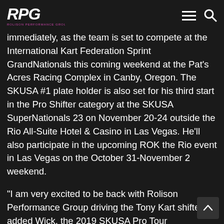RPG - Rolison Performance Group
immediately, as the team is set to compete at the International Kart Federation Sprint GrandNationals this coming weekend at the Pat's Acres Racing Complex in Canby, Oregon. The SKUSA #1 plate holder is also set for his third start in the Pro Shifter category at the SKUSA SuperNationals 23 on November 20-24 outside the Rio All-Suite Hotel & Casino in Las Vegas. He'll also participate in the upcoming ROK the Rio event in Las Vegas on the October 31-November 2 weekend.
“I am very excited to be back with Rolison Performance Group driving the Tony Kart shifter,” added Wick, the 2019 SKUSA Pro Tour Pro Shifter champion. “I am looking forward to